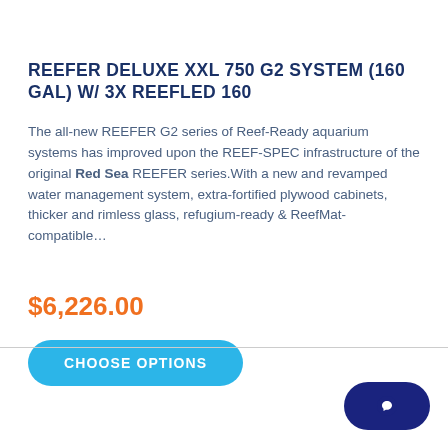REEFER DELUXE XXL 750 G2 SYSTEM (160 GAL) W/ 3X REEFLED 160
The all-new REEFER G2 series of Reef-Ready aquarium systems has improved upon the REEF-SPEC infrastructure of the original Red Sea REEFER series.With a new and revamped water management system, extra-fortified plywood cabinets, thicker and rimless glass, refugium-ready & ReefMat-compatible…
$6,226.00
CHOOSE OPTIONS